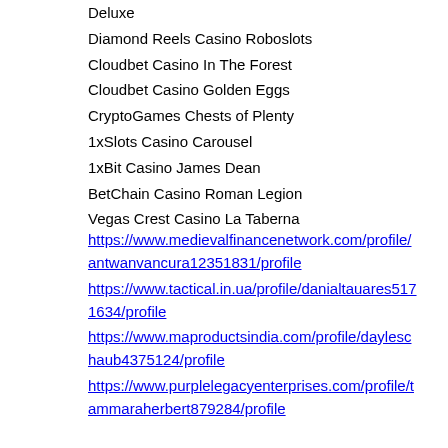Deluxe
Diamond Reels Casino Roboslots
Cloudbet Casino In The Forest
Cloudbet Casino Golden Eggs
CryptoGames Chests of Plenty
1xSlots Casino Carousel
1xBit Casino James Dean
BetChain Casino Roman Legion
Vegas Crest Casino La Taberna
https://www.medievalfinancenetwork.com/profile/antwanvancura12351831/profile
https://www.tactical.in.ua/profile/danialtauares5171634/profile
https://www.maproductsindia.com/profile/dayleschaub4375124/profile
https://www.purplelegacyenterprises.com/profile/tammaraherbert879284/profile